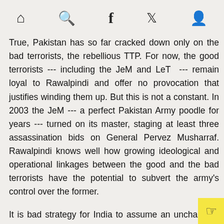[home icon] [search icon] [facebook icon] [twitter icon] [profile icon]
True, Pakistan has so far cracked down only on the bad terrorists, the rebellious TTP. For now, the good terrorists --- including the JeM and LeT  --- remain loyal to Rawalpindi and offer no provocation that justifies winding them up. But this is not a constant. In 2003 the JeM --- a perfect Pakistan Army poodle for years --- turned on its master, staging at least three assassination bids on General Pervez Musharraf. Rawalpindi knows well how growing ideological and operational linkages between the good and the bad terrorists have the potential to subvert the army's control over the former.
It is bad strategy for India to assume an unchanging world, even if the prospects of change are tenuous. Instead of waiting for change to happen within Pakistan, New Delhi should adopt a pro-active strategy --- catalysing, facilitating and making room for that change. This does not imply looking at Pakistan through rose-tinted gla or condoning terrorist strikes by so-called “non-state actors” i